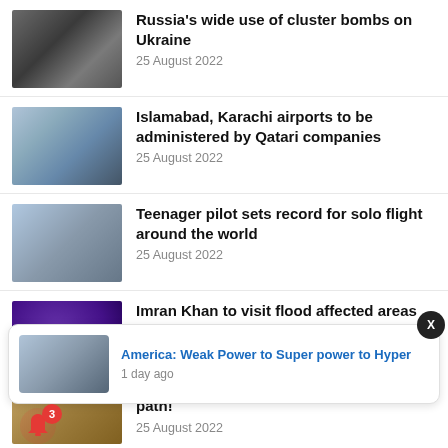Russia's wide use of cluster bombs on Ukraine
25 August 2022
Islamabad, Karachi airports to be administered by Qatari companies
25 August 2022
Teenager pilot sets record for solo flight around the world
25 August 2022
Imran Khan to visit flood affected areas
25 August 2022
[Figure (screenshot): Popup notification: America: Weak Power to Super power to Hyper, 1 day ago]
path!
25 August 2022